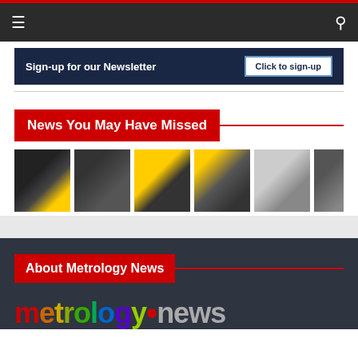Navigation bar with hamburger menu and search icon
Sign-up for our Newsletter
Click to sign-up
News You May Have Missed
[Figure (photo): Six thumbnail images showing various metrology and industrial scenes: robot, CMM inspection, Boston Dynamics robot dog, industrial components, woman in lab, industrial machinery]
About Metrology News
[Figure (logo): metrology.news logo with rainbow-colored 'metrology' text and grey '.news' text]